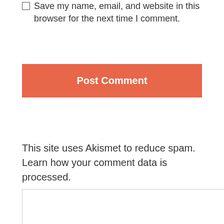☐ Save my name, email, and website in this browser for the next time I comment.
Post Comment
This site uses Akismet to reduce spam. Learn how your comment data is processed.
[Figure (other): Empty textarea input box with border]